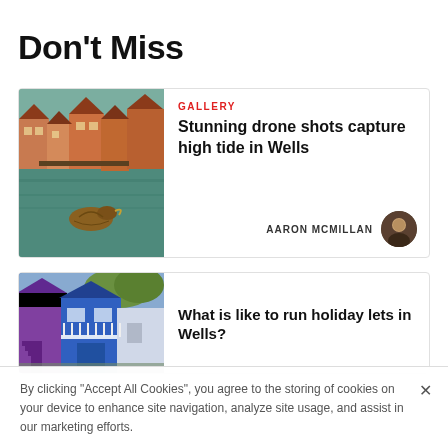Don't Miss
[Figure (photo): News card with harbor/waterway photo showing buildings and a duck or bird near the water. Gallery article about drone shots of high tide in Wells.]
GALLERY
Stunning drone shots capture high tide in Wells
AARON MCMILLAN
[Figure (photo): News card with colorful beach huts or holiday cottages in blue and purple tones. Article about running holiday lets in Wells.]
What is like to run holiday lets in Wells?
By clicking “Accept All Cookies”, you agree to the storing of cookies on your device to enhance site navigation, analyze site usage, and assist in our marketing efforts.